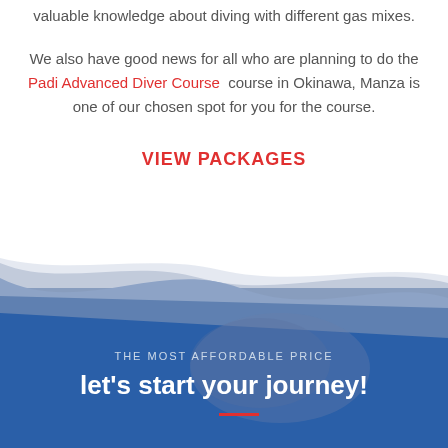valuable knowledge about diving with different gas mixes.
We also have good news for all who are planning to do the Padi Advanced Diver Course course in Okinawa, Manza is one of our chosen spot for you for the course.
VIEW PACKAGES
THE MOST AFFORDABLE PRICE
let's start your journey!